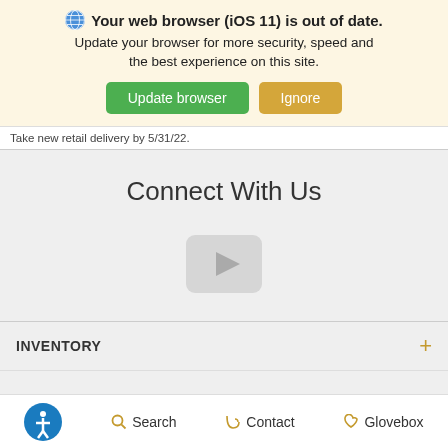[Figure (screenshot): Browser update notification banner with globe icon, bold title 'Your web browser (iOS 11) is out of date.', subtitle text, and two buttons: green 'Update browser' and amber 'Ignore']
Take new retail delivery by 5/31/22.
Connect With Us
[Figure (other): YouTube video placeholder with grey rounded rectangle and play button triangle icon]
INVENTORY +
SERVICE +
Accessibility  Search  Contact  Glovebox